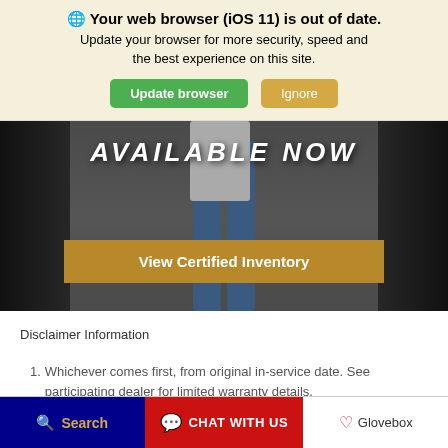🌐 Your web browser (iOS 11) is out of date. Update your browser for more security, speed and the best experience on this site.
Update browser | Ignore
[Figure (screenshot): Hero banner showing a person standing between car doors with large italic text 'AVAILABLE NOW' and a gold 'View Certified Inventory' button]
Disclaimer Information
1. Whichever comes first, from original in-service date. See participating dealer for limited warranty details.
Search | CHAT WITH US | Glovebox